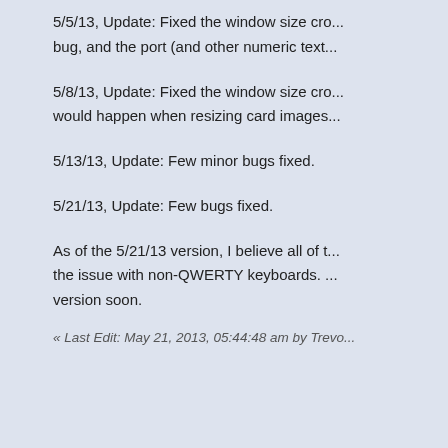5/5/13, Update: Fixed the window size cro... bug, and the port (and other numeric text...
5/8/13, Update: Fixed the window size cro... would happen when resizing card images...
5/13/13, Update: Few minor bugs fixed.
5/21/13, Update: Few bugs fixed.
As of the 5/21/13 version, I believe all of t... the issue with non-QWERTY keyboards. ... version soon.
« Last Edit: May 21, 2013, 05:44:48 am by Trevo...
Sydnelson
Guest
Re: New version of Lackey soon to... official. Please test it!
« Reply #1 on: April 21, 2013, 07:22:05 pm »
I still have keyboard errors like ones repo...
See the errors in my last post...
http://www.lackeyccg.com/forum/index.ph...
[attachment deleted by admin due to age]